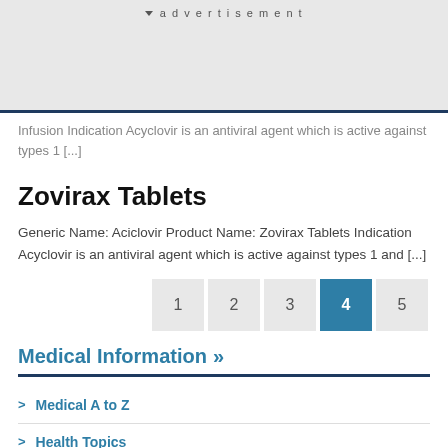advertisement
Infusion Indication Acyclovir is an antiviral agent which is active against types 1 [...]
Zovirax Tablets
Generic Name: Aciclovir Product Name: Zovirax Tablets Indication Acyclovir is an antiviral agent which is active against types 1 and [...]
1 2 3 4 5
Medical Information »
Medical A to Z
Health Topics